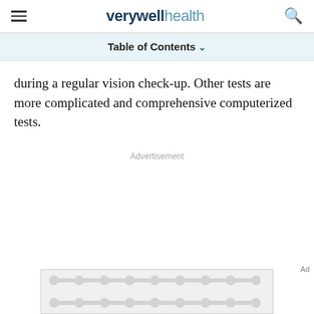verywell health
Table of Contents
during a regular vision check-up. Other tests are more complicated and comprehensive computerized tests.
Advertisement
[Figure (other): Advertisement banner with decorative dot pattern]